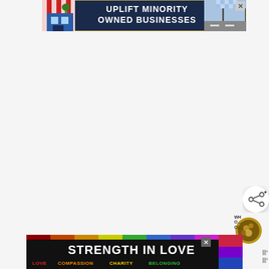[Figure (screenshot): Top banner advertisement with dark navy background, store front illustration on left with red and white striped awning, text 'UPLIFT MINORITY OWNED BUSINESSES' in white bold font, street lamp and road illustration on right, blue checkered pattern top-right corner, close X button top-right]
[Figure (screenshot): Bottom banner advertisement with black background, rainbow stripe across top, white bold text 'STRENGTH IN LOVE', colorful subtext 'LOVE COMPASSION CHARITY BELONGING' with each word in different color (red, orange, yellow, green), close X button, purple/blue stripe on right edge]